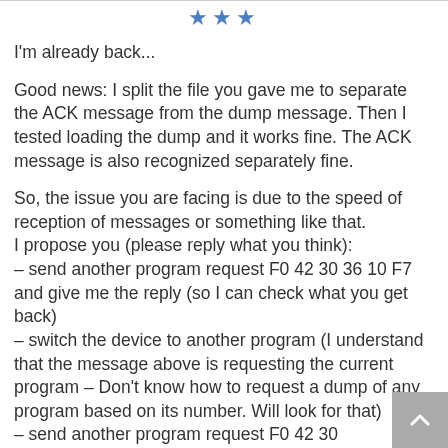[Figure (other): Three blue stars rating indicator]
I'm already back...
Good news: I split the file you gave me to separate the ACK message from the dump message. Then I tested loading the dump and it works fine. The ACK message is also recognized separately fine.
So, the issue you are facing is due to the speed of reception of messages or something like that.
I propose you (please reply what you think):
– send another program request F0 42 30 36 10 F7 and give me the reply (so I can check what you get back)
– switch the device to another program (I understand that the message above is requesting the current program – Don't know how to request a dump of any program based on its number. Will look for that)
– send another program request F0 42 30